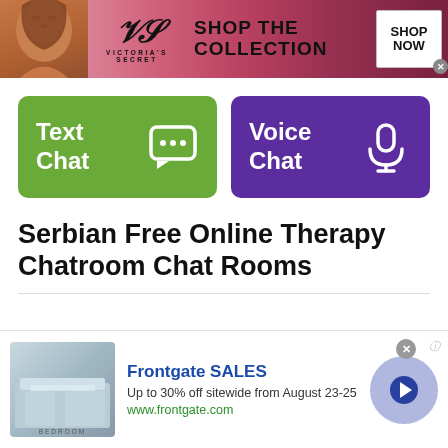[Figure (screenshot): Victoria's Secret advertisement banner with model, VS logo, 'SHOP THE COLLECTION' text and 'SHOP NOW' button]
[Figure (screenshot): Green 'Text Chat' button with speech bubble icon and purple 'Voice Chat' button with microphone icon]
Serbian Free Online Therapy Chatroom Chat Rooms
[Figure (screenshot): Frontgate SALES advertisement: bedroom image, 'Up to 30% off sitewide from August 23-25', www.frontgate.com, with navigation arrow circle]